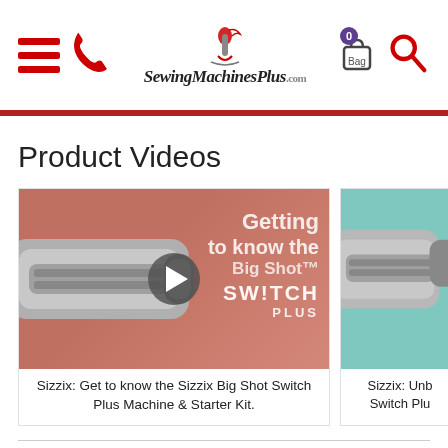[Figure (screenshot): Website header for SewingMachinesPlus.com with hamburger menu, phone icon, logo, shopping bag with 0 items, and search icon]
Product Videos
[Figure (screenshot): Video thumbnail showing Sizzix Big Shot Switch Plus machine with play button overlay and text 'Getting to know the Big Shot SWITCH PLUS']
Sizzix: Get to know the Sizzix Big Shot Switch Plus Machine & Starter Kit.
[Figure (screenshot): Partially visible second video thumbnail with teal background showing machine]
Sizzix: Unb Switch Plu
PRODUCT INFORMATION